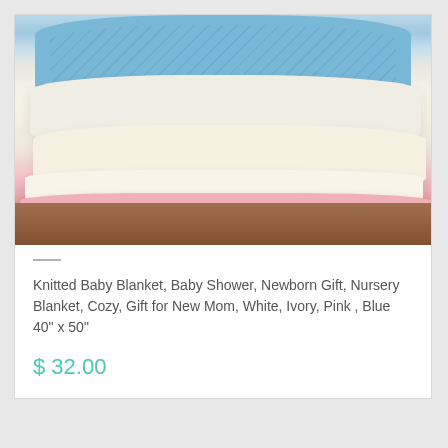[Figure (photo): A stack of knitted baby blankets in blue, white, ivory, and pink colors, folded and piled on top of each other in a basket with natural brown fiber material visible at the base.]
Knitted Baby Blanket, Baby Shower, Newborn Gift, Nursery Blanket, Cozy, Gift for New Mom, White, Ivory, Pink , Blue 40" x 50"
$ 32.00